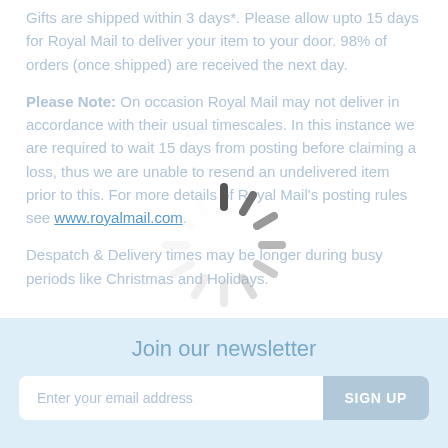Gifts are shipped within 3 days*. Please allow upto 15 days for Royal Mail to deliver your item to your door. 98% of orders (once shipped) are received the next day.
Please Note: On occasion Royal Mail may not deliver in accordance with their usual timescales. In this instance we are required to wait 15 days from posting before claiming a loss, thus we are unable to resend an undelivered item prior to this. For more details of Royal Mail's posting rules see www.royalmail.com.
Despatch & Delivery times may be longer during busy periods like Christmas and Holidays.
[Figure (other): Loading spinner / activity indicator (dark gray radial lines forming a circle)]
Join our newsletter